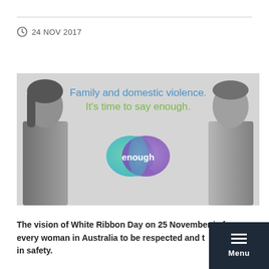24 NOV 2017
[Figure (infographic): Campaign image for White Ribbon Day / domestic violence awareness. Text reads 'Family and domestic violence. It’s time to say enough.' with an 'enough' speech-bubble logo in teal and purple gradient. Two people (a woman on the left and a man on the right) appear in black and white on either side.]
The vision of White Ribbon Day on 25 November is for every woman in Australia to be respected and t... in safety.